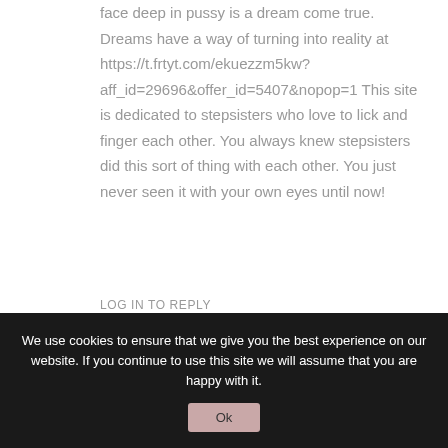face deep in pussy is a dream come true. Dreams have a way of turning into reality at https://t.frtyt.com/ekuezzm5kw?aff_id=29696&offer_id=5407&nopop=1 This site is dedicated to stepsisters who love to lick and finger each other. You always knew stepsisters did this sort of thing with each other. You just never seen it with your own eyes until now!
LOG IN TO REPLY
Corrie Kerchal says:
We use cookies to ensure that we give you the best experience on our website. If you continue to use this site we will assume that you are happy with it.